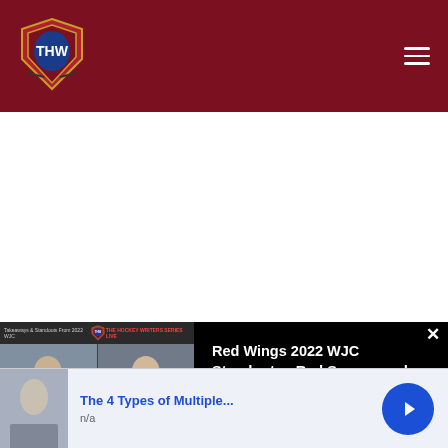[Figure (logo): The Hockey Writers (THW) shield logo in white/blue/red on dark red header background with hamburger menu icon on right]
[Figure (screenshot): Video panel showing a video call with four participants in a grid layout. Top bar shows 'Takeaways & Standouts From 2022 WJC' text and THW logo and 'THE HOCKEY WRITERS SERIES LIVE' text. Bottom bar shows social media handles. Title reads: Red Wings 2022 WJC Standouts - Red Savage and Sebastian Cossa]
[Figure (infographic): Advertisement banner showing 'The 4 Types of Multiple...' with 'n/a' subtitle and a blue arrow button on the right]